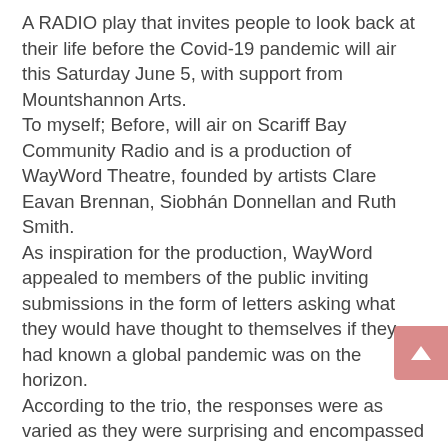A RADIO play that invites people to look back at their life before the Covid-19 pandemic will air this Saturday June 5, with support from Mountshannon Arts. To myself; Before, will air on Scariff Bay Community Radio and is a production of WayWord Theatre, founded by artists Clare Eavan Brennan, Siobhán Donnellan and Ruth Smith. As inspiration for the production, WayWord appealed to members of the public inviting submissions in the form of letters asking what they would have thought to themselves if they had known a global pandemic was on the horizon. According to the trio, the responses were as varied as they were surprising and encompassed a broad emotional spectrum. The radio play includes text excerpts from the submissions and will air on Scariff Bay Community Radio on Saturday at 8 p.m. The special will include a live chat before and after the show with the three WayWords. WayWord Theater's work is inspired by the personal and the political. Their first production, Get the Boat, which was written by Eavan Brennan, debuted at the Limerick